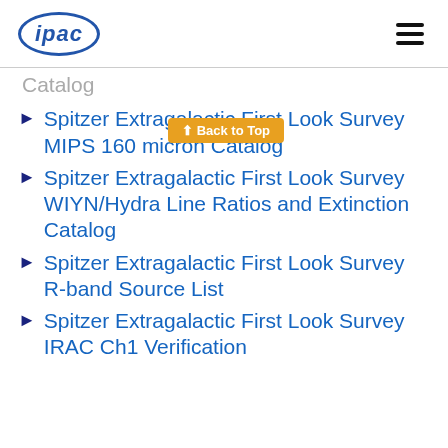ipac
Catalog
Spitzer Extragalactic First Look Survey MIPS 160 micron Catalog
Spitzer Extragalactic First Look Survey WIYN/Hydra Line Ratios and Extinction Catalog
Spitzer Extragalactic First Look Survey R-band Source List
Spitzer Extragalactic First Look Survey IRAC Ch1 Verification